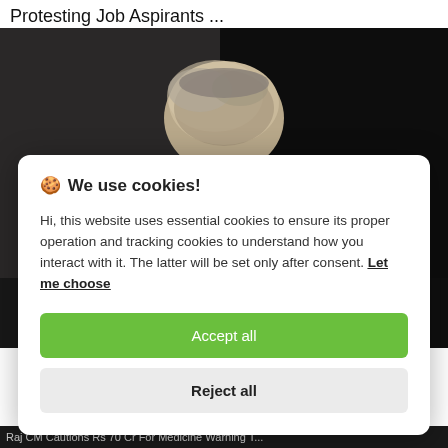Protesting Job Aspirants ...
[Figure (photo): Dark background photo showing the top of a person's head with gray hair against a dark background]
🍪 We use cookies!
Hi, this website uses essential cookies to ensure its proper operation and tracking cookies to understand how you interact with it. The latter will be set only after consent. Let me choose
Accept all
Reject all
Raj CM Cautions Rs 70 Cr For Medicine Warning T...